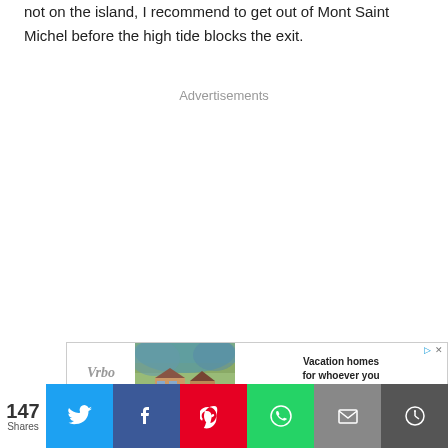not on the island, I recommend to get out of Mont Saint Michel before the high tide blocks the exit.
Advertisements
[Figure (other): Vrbo advertisement showing vacation home with mountain background and text 'Vacation homes for whoever you call family']
147 Shares — social sharing bar with Twitter, Facebook, Pinterest, WhatsApp, Email, and More buttons